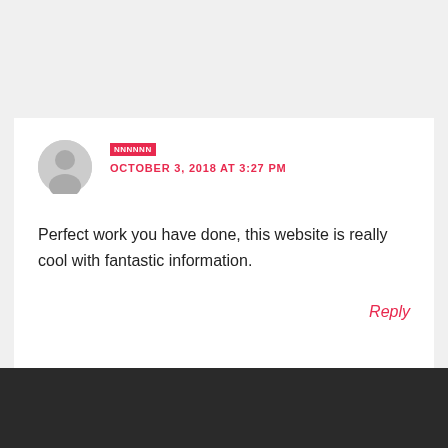NNNNNN
OCTOBER 3, 2018 AT 3:27 PM
Perfect work you have done, this website is really cool with fantastic information.
Reply